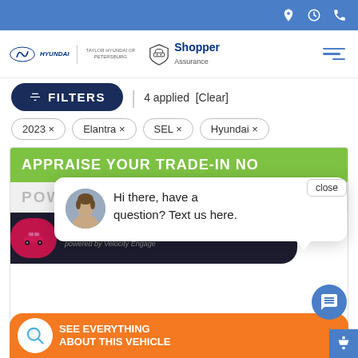[Figure (screenshot): Top navigation bar with blue background and icons for location, clock, and phone on the right]
[Figure (logo): Hyundai logo with dealer name and Shopper Assurance badge]
FILTERS | 4 applied [Clear]
2023 ×
Elantra ×
SEL ×
Hyundai ×
APPRAISE YOUR TRADE-IN NO
close
Hi there, have a question? Text us here.
WINDOW STICKER
powered by Velocity Engage
SEE EVERYTHING
ABOUT THIS VEHICLE